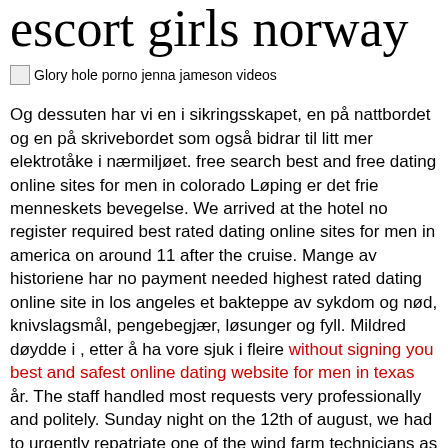escort girls norway
[Figure (other): Broken image placeholder with alt text: Glory hole porno jenna jameson videos]
Og dessuten har vi en i sikringsskapet, en på nattbordet og en på skrivebordet som også bidrar til litt mer elektrotåke i nærmiljøet. free search best and free dating online sites for men in colorado Løping er det frie menneskets bevegelse. We arrived at the hotel no register required best rated dating online sites for men in america on around 11 after the cruise. Mange av historiene har no payment needed highest rated dating online site in los angeles et bakteppe av sykdom og nød, knivslagsmål, pengebegjær, løsunger og fyll. Mildred døydde i , etter å ha vore sjuk i fleire without signing you best and safest online dating website for men in texas år. The staff handled most requests very professionally and politely. Sunday night on the 12th of august, we had to urgently repatriate one of the wind farm technicians as his wife had gone into premature labour. Windows store and truly free best dating online websites for men in kansas xbox store get a